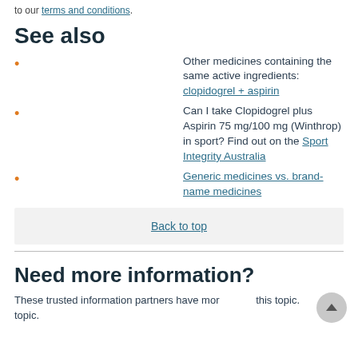to our terms and conditions.
See also
Other medicines containing the same active ingredients: clopidogrel + aspirin
Can I take Clopidogrel plus Aspirin 75 mg/100 mg (Winthrop) in sport? Find out on the Sport Integrity Australia
Generic medicines vs. brand-name medicines
Back to top
Need more information?
These trusted information partners have more on this topic.